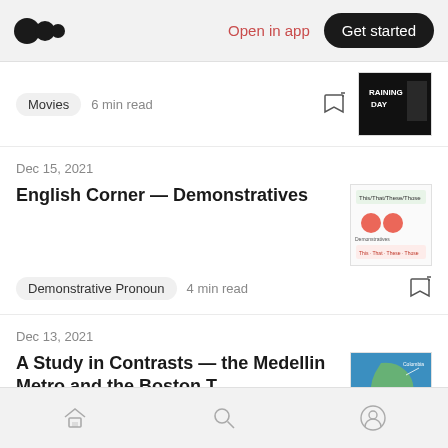Medium logo | Open in app | Get started
Movies  6 min read
Dec 15, 2021
English Corner — Demonstratives
Demonstrative Pronoun  4 min read
Dec 13, 2021
A Study in Contrasts — the Medellin Metro and the Boston T
Metro  6 min read
Home | Search | Profile